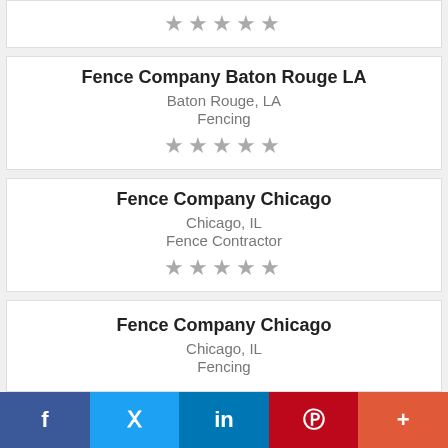★★★★★ (top card stars, partially visible)
Fence Company Baton Rouge LA
Baton Rouge, LA
Fencing
★★★★★
Fence Company Chicago
Chicago, IL
Fence Contractor
★★★★★
Fence Company Chicago
Chicago, IL
Fencing
f  🐦  in  P  +